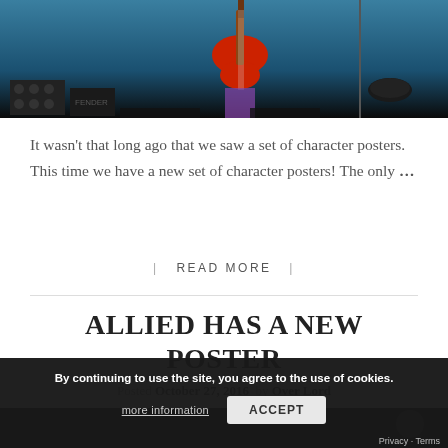[Figure (photo): Concert photo showing a guitarist on stage with electric guitar, stage equipment visible in background, blue-tinted lighting]
It wasn't that long ago that we saw a set of character posters. This time we have a new set of character posters! The only …
| READ MORE |
ALLIED HAS A NEW POSTER
Posted October 27, 2016  by Over Lord
[Figure (photo): Dark bottom strip showing partial movie poster or related image]
By continuing to use the site, you agree to the use of cookies.
more information
ACCEPT
Privacy · Terms